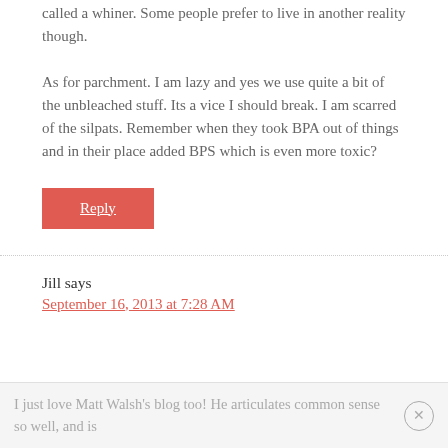called a whiner. Some people prefer to live in another reality though.
As for parchment. I am lazy and yes we use quite a bit of the unbleached stuff. Its a vice I should break. I am scarred of the silpats. Remember when they took BPA out of things and in their place added BPS which is even more toxic?
Reply
Jill says
September 16, 2013 at 7:28 AM
I just love Matt Walsh's blog too! He articulates common sense so well, and is